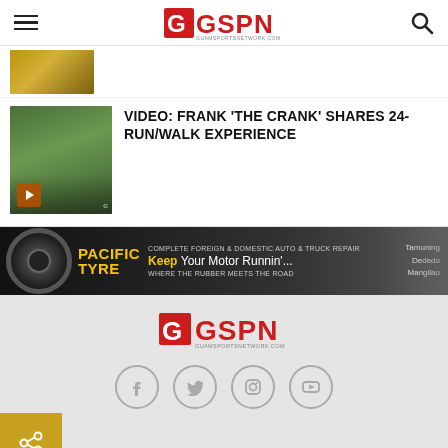GSPN - GUAMSPORTSNETWORK.COM
[Figure (screenshot): Partially visible article thumbnail image]
VIDEO: FRANK 'THE CRANK' SHARES 24-RUN/WALK EXPERIENCE
[Figure (photo): Pacific Tyre advertisement banner - Complete Foreign & Domestic Auto & Truck Repair. Keep Your Motor Runnin'... Where The Rubber Meets The Road. Tamuning Dededo Mangilao]
[Figure (logo): GSPN GuamSportsNetwork.com footer logo]
[Figure (infographic): Social media icons: Facebook, Twitter, Instagram, YouTube]
Share button